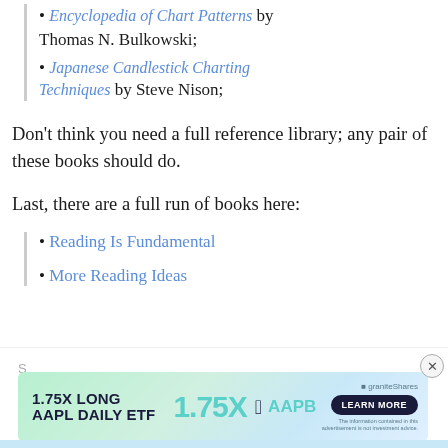• Encyclopedia of Chart Patterns by Thomas N. Bulkowski;
• Japanese Candlestick Charting Techniques by Steve Nison;
Don't think you need a full reference library; any pair of these books should do.
Last, there are a full run of books here:
• Reading Is Fundamental
• More Reading Ideas
[Figure (screenshot): Advertisement banner for GraniteShares 1.75X Long AAPL Daily ETF (AAPB) with a Learn More button on a green-blue gradient background.]